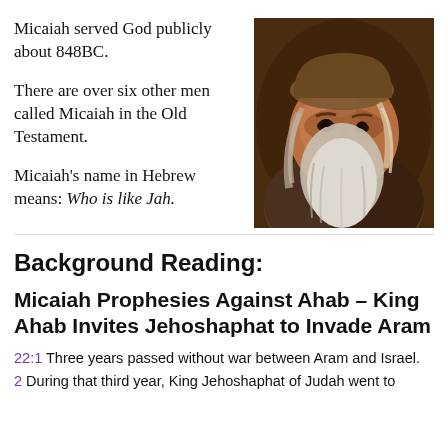Micaiah served God publicly about 848BC.
[Figure (illustration): Oil painting portrait of an elderly bearded man with long grey-white hair, looking upward, rendered in warm brown and earthy tones — likely a depiction of the prophet Micaiah.]
There are over six other men called Micaiah in the Old Testament.
Micaiah's name in Hebrew means: Who is like Jah.
Background Reading:
Micaiah Prophesies Against Ahab – King Ahab Invites Jehoshaphat to Invade Aram
22:1 Three years passed without war between Aram and Israel.
2 During that third year, King Jehoshaphat of Judah went to